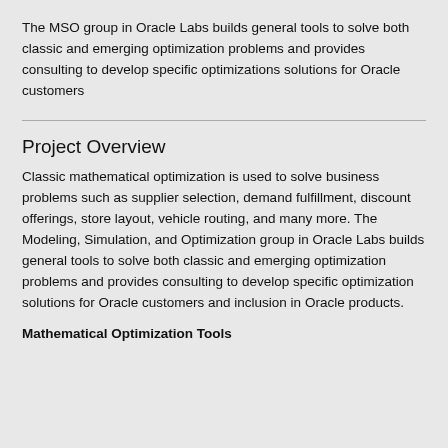The MSO group in Oracle Labs builds general tools to solve both classic and emerging optimization problems and provides consulting to develop specific optimizations solutions for Oracle customers
Project Overview
Classic mathematical optimization is used to solve business problems such as supplier selection, demand fulfillment, discount offerings, store layout, vehicle routing, and many more. The Modeling, Simulation, and Optimization group in Oracle Labs builds general tools to solve both classic and emerging optimization problems and provides consulting to develop specific optimization solutions for Oracle customers and inclusion in Oracle products.
Mathematical Optimization Tools